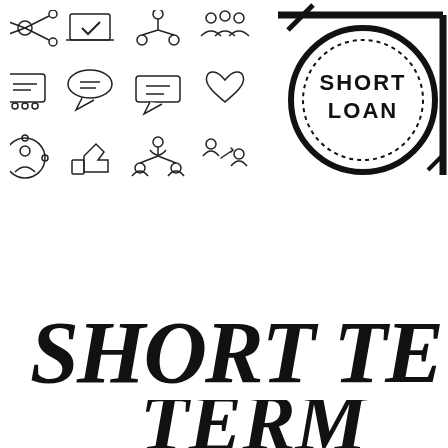[Figure (illustration): Grid of social/networking icons: people network, laptop with checkmark, hierarchy, group, chat/computer, speech bubble, message, heart+, person in circle, thumbs up, org chart, person with arrow transfer]
[Figure (illustration): Round rubber stamp with text SHORT LOAN in bold uppercase, surrounded by dotted border circle]
[Figure (illustration): Large bold stamped/distressed text reading SHORT TERM in heavy black western-style font]
[Figure (illustration): Partial text TERM visible at bottom of page in same large bold stamped style, partially cut off]